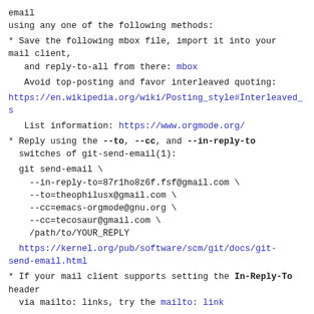email
using any one of the following methods:
* Save the following mbox file, import it into your mail client,
   and reply-to-all from there: mbox
Avoid top-posting and favor interleaved quoting:
https://en.wikipedia.org/wiki/Posting_style#Interleaved_s
List information: https://www.orgmode.org/
* Reply using the --to, --cc, and --in-reply-to switches of git-send-email(1):
git send-email \
    --in-reply-to=87r1ho8z6f.fsf@gmail.com \
    --to=theophilusx@gmail.com \
    --cc=emacs-orgmode@gnu.org \
    --cc=tecosaur@gmail.com \
    /path/to/YOUR_REPLY
https://kernel.org/pub/software/scm/git/docs/git-send-email.html
* If your mail client supports setting the In-Reply-To header
  via mailto: links, try the mailto: link